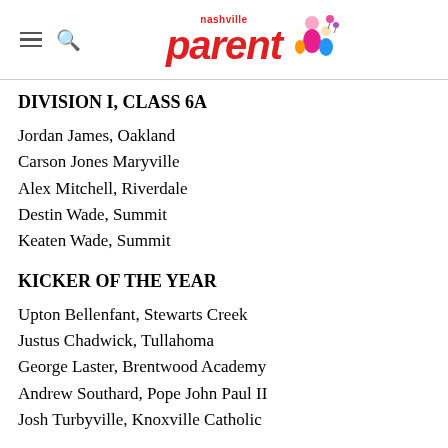nashville parent
DIVISION I, CLASS 6A
Jordan James, Oakland
Carson Jones Maryville
Alex Mitchell, Riverdale
Destin Wade, Summit
Keaten Wade, Summit
KICKER OF THE YEAR
Upton Bellenfant, Stewarts Creek
Justus Chadwick, Tullahoma
George Laster, Brentwood Academy
Andrew Southard, Pope John Paul II
Josh Turbyville, Knoxville Catholic